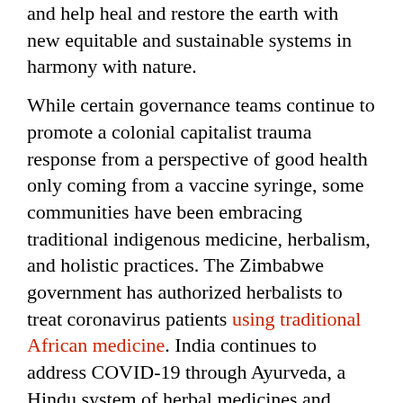and help heal and restore the earth with new equitable and sustainable systems in harmony with nature.

While certain governance teams continue to promote a colonial capitalist trauma response from a perspective of good health only coming from a vaccine syringe, some communities have been embracing traditional indigenous medicine, herbalism, and holistic practices. The Zimbabwe government has authorized herbalists to treat coronavirus patients using traditional African medicine. India continues to address COVID-19 through Ayurveda, a Hindu system of herbal medicines and dietary restrictions to strengthen the immune system. And in the heart of the outbreak zone, China has drawn on its 3,000-year old practice of traditional Chinese medicine as a holistic approach to treat patients. There are many emerging warriors working together in support